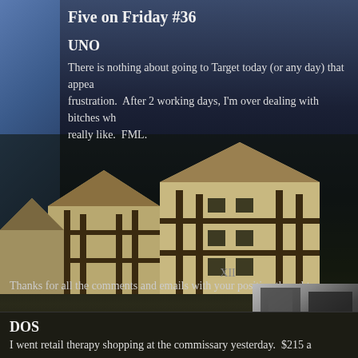Five on Friday #36
UNO
There is nothing about going to Target today (or any day) that appea frustration.  After 2 working days, I'm over dealing with bitches wh really like.  FML.
[Figure (photo): Black and white photo with caption 'this is']
Thanks for all the comments and emails with your positive thoughts
DOS
I went retail therapy shopping at the commissary yesterday.  $215 a